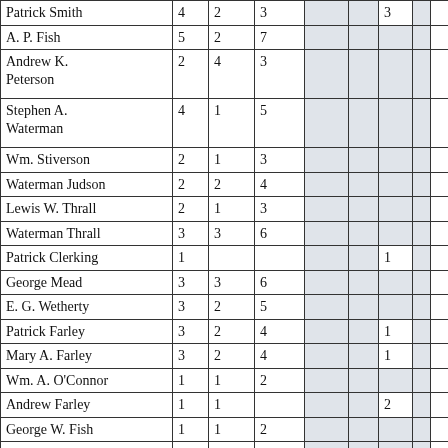| Patrick Smith | 4 | 2 | 3 |  |  | 3 |  |  |
| A. P. Fish | 5 | 2 | 7 |  |  |  |  |  |
| Andrew K. Peterson | 2 | 4 | 3 |  |  |  |  |  |
| Stephen A. Waterman | 4 | 1 | 5 |  |  |  |  |  |
| Wm. Stiverson | 2 | 1 | 3 |  |  |  |  |  |
| Waterman Judson | 2 | 2 | 4 |  |  |  |  |  |
| Lewis W. Thrall | 2 | 1 | 3 |  |  |  |  |  |
| Waterman Thrall | 3 | 3 | 6 |  |  |  |  |  |
| Patrick Clerking | 1 |  |  |  |  | 1 |  |  |
| George Mead | 3 | 3 | 6 |  |  |  |  |  |
| E. G. Wetherty | 3 | 2 | 5 |  |  |  |  |  |
| Patrick Farley | 3 | 2 | 4 |  |  | 1 |  |  |
| Mary A. Farley | 3 | 2 | 4 |  |  | 1 |  |  |
| Wm. A. O'Connor | 1 | 1 | 2 |  |  |  |  |  |
| Andrew Farley | 1 | 1 |  |  |  | 2 |  |  |
| George W. Fish | 1 | 1 | 2 |  |  |  |  |  |
| J. W. Flagg | 1 | 5 | 6 |  |  |  |  |  |
|  |  |  |  |  |  |  |  |  |